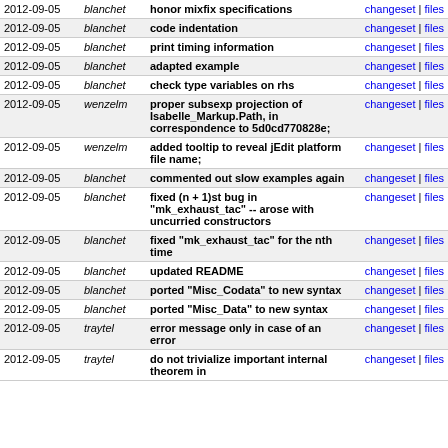| Date | Author | Description | Links |
| --- | --- | --- | --- |
| 2012-09-05 | blanchet | honor mixfix specifications | changeset | files |
| 2012-09-05 | blanchet | code indentation | changeset | files |
| 2012-09-05 | blanchet | print timing information | changeset | files |
| 2012-09-05 | blanchet | adapted example | changeset | files |
| 2012-09-05 | blanchet | check type variables on rhs | changeset | files |
| 2012-09-05 | wenzelm | proper subsexp projection of Isabelle_Markup.Path, in correspondence to 5d0cd770828e; | changeset | files |
| 2012-09-05 | wenzelm | added tooltip to reveal jEdit platform file name; | changeset | files |
| 2012-09-05 | blanchet | commented out slow examples again | changeset | files |
| 2012-09-05 | blanchet | fixed (n + 1)st bug in "mk_exhaust_tac" -- arose with uncurried constructors | changeset | files |
| 2012-09-05 | blanchet | fixed "mk_exhaust_tac" for the nth time | changeset | files |
| 2012-09-05 | blanchet | updated README | changeset | files |
| 2012-09-05 | blanchet | ported "Misc_Codata" to new syntax | changeset | files |
| 2012-09-05 | blanchet | ported "Misc_Data" to new syntax | changeset | files |
| 2012-09-05 | traytel | error message only in case of an error | changeset | files |
| 2012-09-05 | traytel | do not trivialize important internal theorem in | changeset | files |